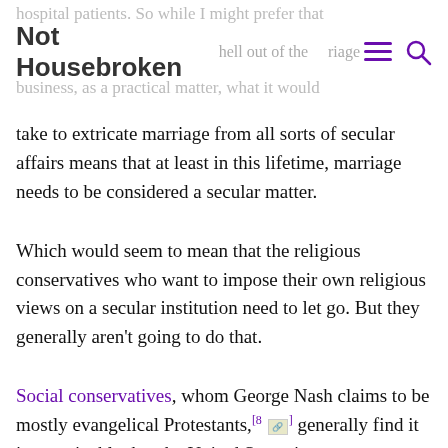Not Housebroken
hospital patients. So while I might prefer that the hell out of the marriage business, as a practical matter, what it would take to extricate marriage from all sorts of secular affairs means that at least in this lifetime, marriage needs to be considered a secular matter.
Which would seem to mean that the religious conservatives who want to impose their own religious views on a secular institution need to let go. But they generally aren’t going to do that.
Social conservatives, whom George Nash claims to be mostly evangelical Protestants,[8] generally find it inconceivable that the United States is not a “Christian” nation that ought to be, in practice if not in name, theocratic. Even if they are right, we would